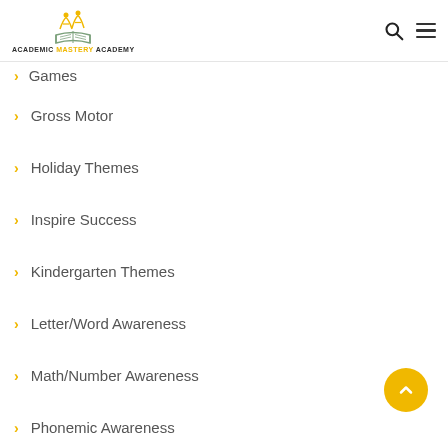Academic Mastery Academy
Games
Gross Motor
Holiday Themes
Inspire Success
Kindergarten Themes
Letter/Word Awareness
Math/Number Awareness
Phonemic Awareness
Social/Emotional Development
Uncategorized